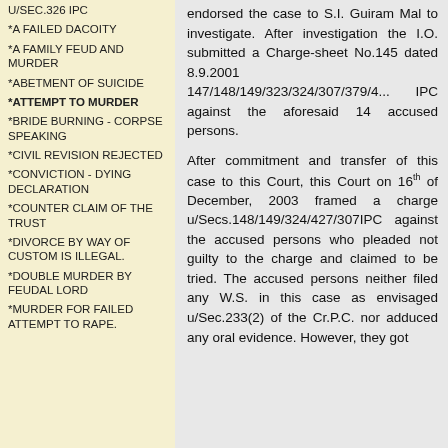U/SEC.326 IPC
*A FAILED DACOITY
*A FAMILY FEUD AND MURDER
*ABETMENT OF SUICIDE
*ATTEMPT TO MURDER
*BRIDE BURNING - CORPSE SPEAKING
*CIVIL REVISION REJECTED
*CONVICTION - DYING DECLARATION
*COUNTER CLAIM OF THE TRUST
*DIVORCE BY WAY OF CUSTOM IS ILLEGAL.
*DOUBLE MURDER BY FEUDAL LORD
*MURDER FOR FAILED ATTEMPT TO RAPE.
endorsed the case to S.I. Guiram Mal to investigate. After investigation the I.O. submitted a Charge-sheet No.145 dated 8.9.2001 147/148/149/323/324/307/379/4... IPC against the aforesaid 14 accused persons.
After commitment and transfer of this case to this Court, this Court on 16th of December, 2003 framed a charge u/Secs.148/149/324/427/307IPC against the accused persons who pleaded not guilty to the charge and claimed to be tried. The accused persons neither filed any W.S. in this case as envisaged u/Sec.233(2) of the Cr.P.C. nor adduced any oral evidence. However, they got